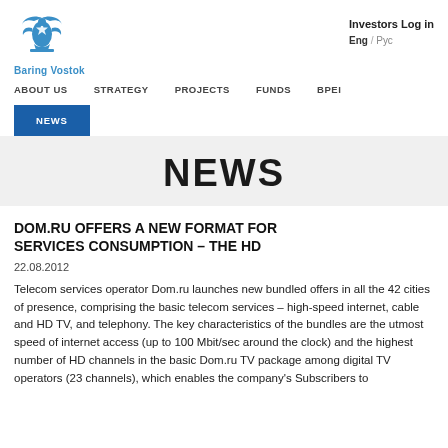[Figure (logo): Baring Vostok logo with eagle/star emblem and blue text 'Baring Vostok']
Investors Log in
Eng / Рус
ABOUT US  STRATEGY  PROJECTS  FUNDS  BPEI
NEWS
NEWS
DOM.RU OFFERS A NEW FORMAT FOR SERVICES CONSUMPTION – THE HD
22.08.2012
Telecom services operator Dom.ru launches new bundled offers in all the 42 cities of presence, comprising the basic telecom services – high-speed internet, cable and HD TV, and telephony. The key characteristics of the bundles are the utmost speed of internet access (up to 100 Mbit/sec around the clock) and the highest number of HD channels in the basic Dom.ru TV package among digital TV operators (23 channels), which enables the company's Subscribers to